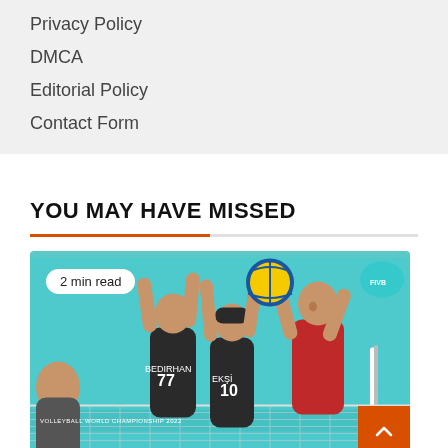Privacy Policy
DMCA
Editorial Policy
Contact Form
YOU MAY HAVE MISSED
[Figure (photo): Volleyball players at a net during the Volleyball World Championship 2022. Players with jerseys BEDIRHAN 77 and EKSI 10 (dark uniforms) blocking against a player in red. A volleyball is in the air above the net. Badge reads '2 min read'.]